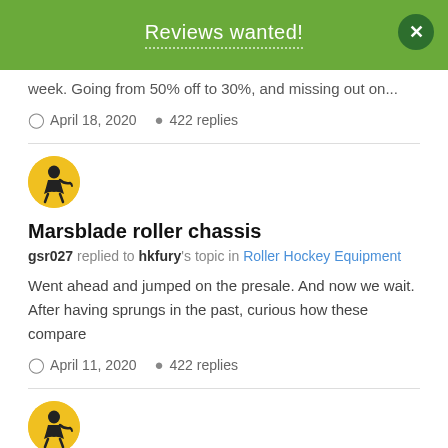Reviews wanted!
week. Going from 50% off to 30%, and missing out on...
April 18, 2020   422 replies
[Figure (illustration): Yellow circular avatar with hockey player silhouette]
Marsblade roller chassis
gsr027 replied to hkfury's topic in Roller Hockey Equipment
Went ahead and jumped on the presale. And now we wait. After having sprungs in the past, curious how these compare
April 11, 2020   422 replies
[Figure (illustration): Yellow circular avatar with hockey player silhouette]
Marsblade roller chassis